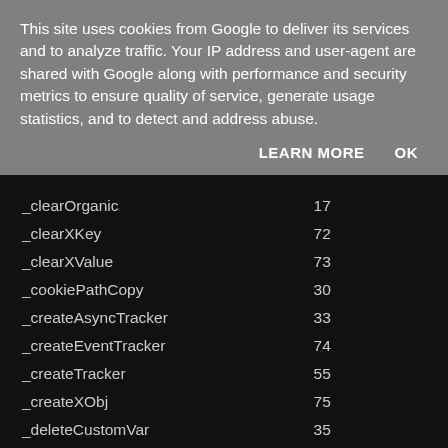This site uses cookies from Google to deliver its services and to analyze traffic. Your IP address and user-agent are shared with Google along with performance and security metrics to ensure quality of service, generate usage statistics, and to detect and address abuse.
LEARN MORE   OK
| Method | Line |
| --- | --- |
| _clearOrganic | 17 |
| _clearXKey | 72 |
| _clearXValue | 73 |
| _cookiePathCopy | 30 |
| _createAsyncTracker | 33 |
| _createEventTracker | 74 |
| _createTracker | 55 |
| _createXObj | 75 |
| _deleteCustomVar | 35 |
| _getAccount | 64 |
| _getAsyncTracker | 34 |
| _getClientInfo | 53 |